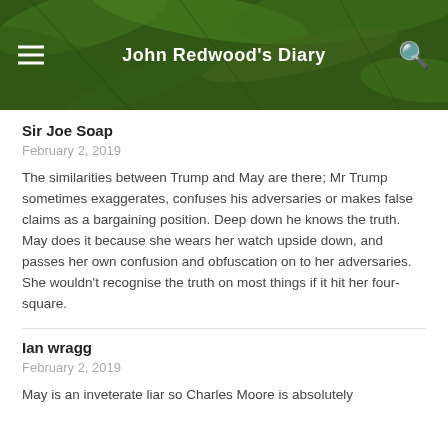[Figure (screenshot): Website header banner for John Redwood's Diary with green leaf background, hamburger menu icon on left, site title in center, search icon on right]
Sir Joe Soap
February 2, 2019
The similarities between Trump and May are there; Mr Trump sometimes exaggerates, confuses his adversaries or makes false claims as a bargaining position. Deep down he knows the truth. May does it because she wears her watch upside down, and passes her own confusion and obfuscation on to her adversaries. She wouldn't recognise the truth on most things if it hit her four-square.
Ian wragg
February 2, 2019
May is an inveterate liar so Charles Moore is absolutely